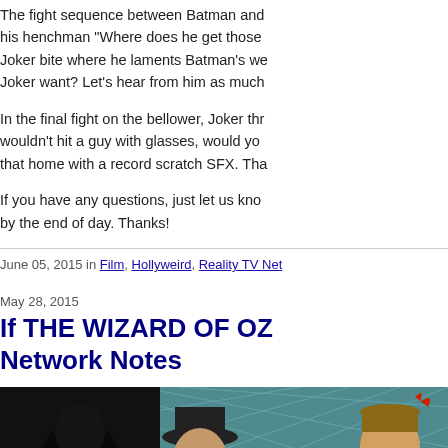The fight sequence between Batman and his henchman "Where does he get those Joker bite where he laments Batman's we Joker want? Let's hear from him as much
In the final fight on the bellower, Joker thr wouldn't hit a guy with glasses, would you that home with a record scratch SFX. Tha
If you have any questions, just let us know by the end of day. Thanks!
June 05, 2015 in Film, Hollyweird, Reality TV Net
May 28, 2015
If THE WIZARD OF OZ Network Notes
[Figure (photo): A scene from The Wizard of Oz showing costumed characters including a scarecrow-like figure in a dark hat and another character, with a diamond-patterned window in the background.]